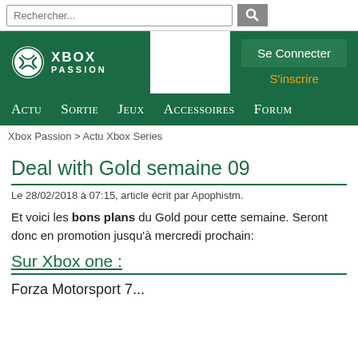Rechercher...
[Figure (logo): Xbox Passion logo with Xbox circle icon on dark green background]
Se Connecter
S'inscrire
Actu Sortie Jeux Accessoires Forum
Xbox Passion > Actu Xbox Series
Deal with Gold semaine 09
Le 28/02/2018 à 07:15, article écrit par Apophistm.
Et voici les bons plans du Gold pour cette semaine. Seront donc en promotion jusqu'à mercredi prochain:
Sur Xbox one :
Forza Motorsport 7...